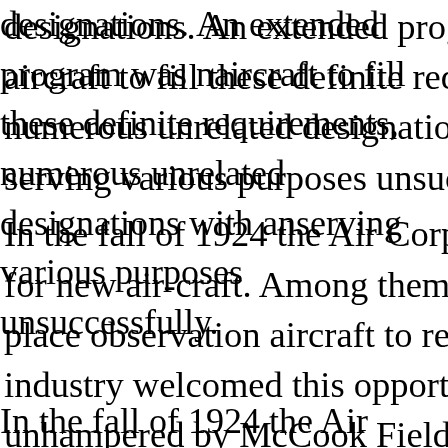designations. An extended program was needed to procure aircraft to fill these definite requirements, instead of numerous unrelated designations with aircraft serving various purposes unsuccessfully. In the fall of 1924 the Air Corps held several competitions for new air-craft. Among them were the need to place observation aircraft to replace the wartime types. The industry welcomed this opportunity to produce aircraft unhampered by McCook Field Ordnance Department specifications. Basic requirements were set. Certain military goals had to be met, but